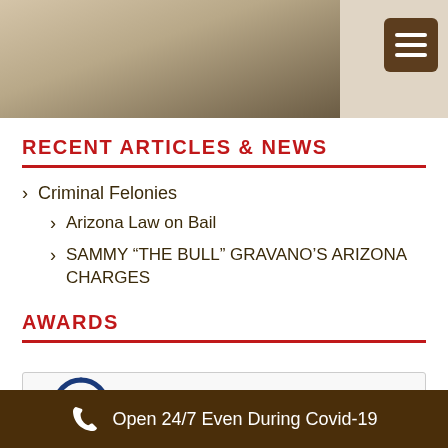[Figure (photo): Partial photo of hands holding a card, cropped at top of page]
RECENT ARTICLES & NEWS
Criminal Felonies
Arizona Law on Bail
SAMMY “THE BULL” GRAVANO’S ARIZONA CHARGES
AWARDS
[Figure (illustration): Partial circular award badge with dark blue border, partially visible]
Open 24/7 Even During Covid-19